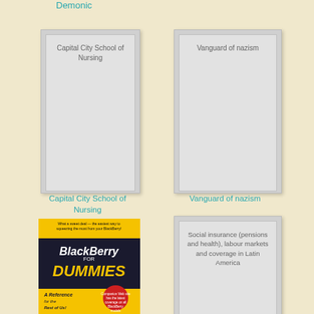Demonic
[Figure (illustration): Placeholder book cover for Capital City School of Nursing]
Capital City School of Nursing
[Figure (illustration): Placeholder book cover for Vanguard of nazism]
Vanguard of nazism
[Figure (photo): Book cover of BlackBerry for Dummies]
[Figure (illustration): Placeholder book cover for Social insurance (pensions and health), labour markets and coverage in Latin America]